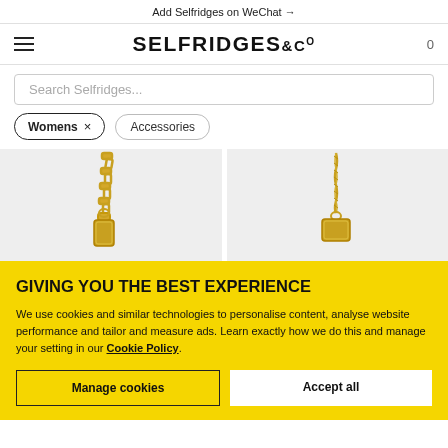Add Selfridges on WeChat →
[Figure (logo): Selfridges & Co logo with hamburger menu and cart icon showing 0]
Search Selfridges...
Womens × Accessories
[Figure (photo): Two gold necklaces with pendant charms on light grey backgrounds, shown side by side]
GIVING YOU THE BEST EXPERIENCE
We use cookies and similar technologies to personalise content, analyse website performance and tailor and measure ads. Learn exactly how we do this and manage your setting in our Cookie Policy.
Manage cookies
Accept all